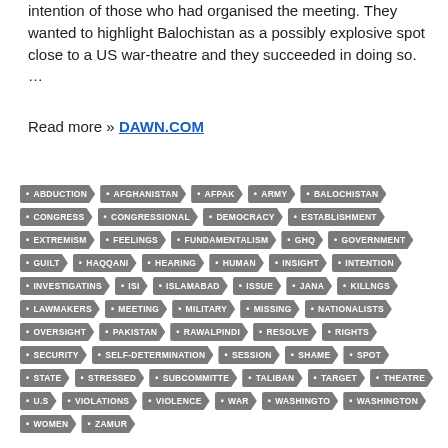intention of those who had organised the meeting. They wanted to highlight Balochistan as a possibly explosive spot close to a US war-theatre and they succeeded in doing so. …
Read more » DAWN.COM
ABDUCTION
AFGHANISTAN
AFPAK
ARMY
BALOCHISTAN
CONGRESS
CONGRESSIONAL
DEMOCRACY
ESTABLISHMENT
EXTREMISM
FEELINGS
FUNDAMENTALISM
GHQ
GOVERNMENT
GUILT
HAQQANI
HEARING
HUMAN
INSIGHT
INTENTION
INVESTIGATINS
ISI
ISLAMABAD
ISSUE
JANA
KILLNGS
LAWMAKERS
MEETING
MILITARY
MISSING
NATIONALISTS
OVERSIGHT
PAKISTAN
RAWALPINDI
RESOLVE
RIGHTS
SECURITY
SELF-DETERMINATION
SESSION
SHAME
SPOT
STATE
STRESSED
SUBCOMMITTE
TALIBAN
TARGET
THEATRE
U.S
VIOLATIONS
VIOLENCE
WAR
WASHINGTO
WASHINGTON
WOMEN
ZAMUR